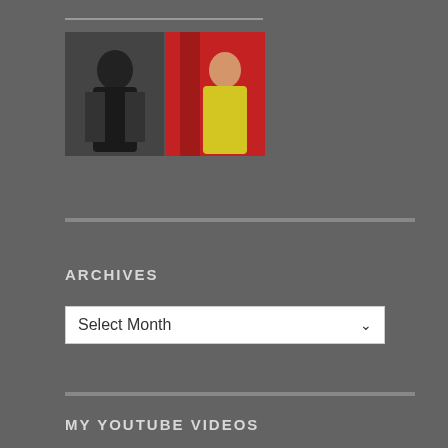[Figure (photo): Two photos side by side: a young woman in dark clothing on the left, a person in a yellow outfit against a red background on the right]
ARCHIVES
Select Month (dropdown)
MY YOUTUBE VIDEOS
Bubba and Doyle
Bubba's Graduation!
Forever Love: Mom's Tribute Video